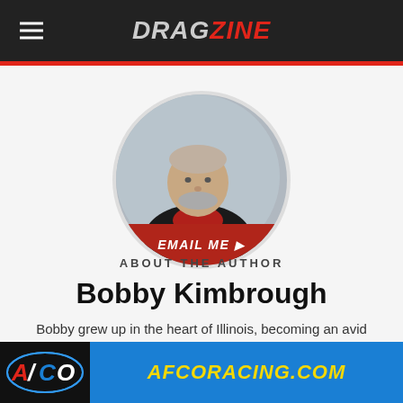DRAGZINE
[Figure (photo): Circular profile photo of Bobby Kimbrough with EMAIL ME button at bottom]
ABOUT THE AUTHOR
Bobby Kimbrough
Bobby grew up in the heart of Illinois, becoming an avid dirt track race fan which has developed into a life long passion. Taking a break from the Midwest dirt tracks to fight evil doers in the world, he completed a full 21 year career in the Marine Corps
[Figure (logo): AFCO Racing advertisement banner — AFCO logo on black background and AFCORACING.COM in yellow text on blue background]